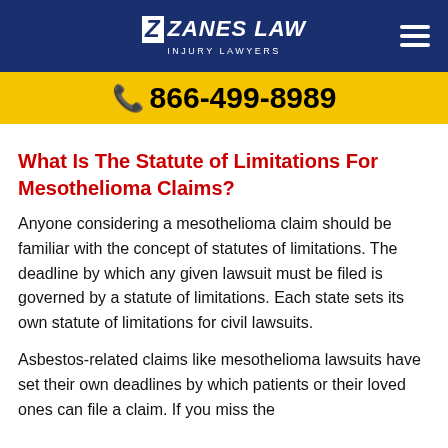ZANES LAW INJURY LAWYERS
866-499-8989
What Is The Statute of Limitations For Mesothelioma Claims?
Anyone considering a mesothelioma claim should be familiar with the concept of statutes of limitations. The deadline by which any given lawsuit must be filed is governed by a statute of limitations. Each state sets its own statute of limitations for civil lawsuits.
Asbestos-related claims like mesothelioma lawsuits have set their own deadlines by which patients or their loved ones can file a claim. If you miss the